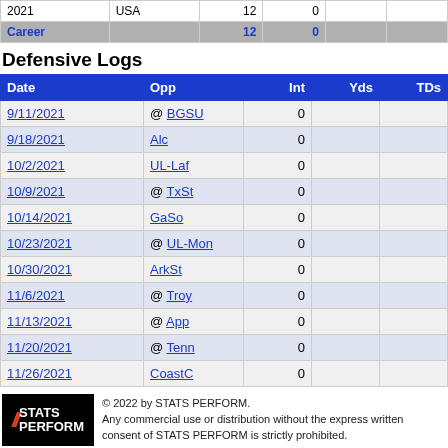|  |  | 12 | 0 |  |  |
| --- | --- | --- | --- | --- | --- |
| Career |  | 12 | 0 |  |  |
Defensive Logs
| Date | Opp | Int | Yds | TDs |
| --- | --- | --- | --- | --- |
| 9/11/2021 | @ BGSU | 0 |  |  |
| 9/18/2021 | Alc | 0 |  |  |
| 10/2/2021 | UL-Laf | 0 |  |  |
| 10/9/2021 | @ TxSt | 0 |  |  |
| 10/14/2021 | GaSo | 0 |  |  |
| 10/23/2021 | @ UL-Mon | 0 |  |  |
| 10/30/2021 | ArkSt | 0 |  |  |
| 11/6/2021 | @ Troy | 0 |  |  |
| 11/13/2021 | @ App | 0 |  |  |
| 11/20/2021 | @ Tenn | 0 |  |  |
| 11/26/2021 | CoastC | 0 |  |  |
© 2022 by STATS PERFORM. Any commercial use or distribution without the express written consent of STATS PERFORM is strictly prohibited.